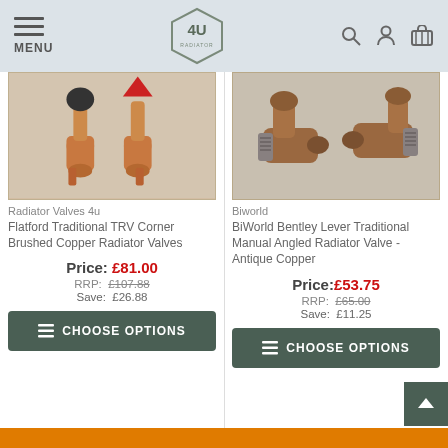MENU | 4U Logo | Search, Account, Cart icons
[Figure (photo): Brushed copper radiator valves with red and black thermostatic heads, corner type]
Radiator Valves 4u
Flatford Traditional TRV Corner Brushed Copper Radiator Valves
Price: £81.00
RRP: £107.88
Save: £26.88
[Figure (photo): Antique copper angled manual radiator valves, traditional lever style]
Biworld
BiWorld Bentley Lever Traditional Manual Angled Radiator Valve - Antique Copper
Price: £53.75
RRP: £65.00
Save: £11.25